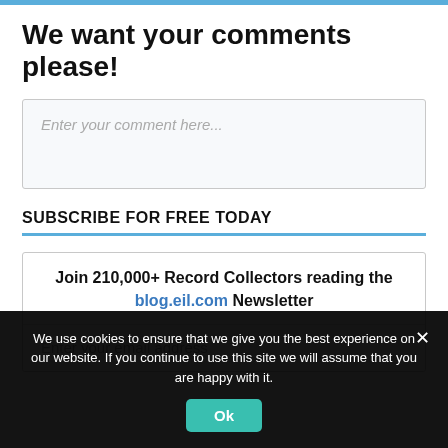We want your comments please!
Enter your comment here...
SUBSCRIBE FOR FREE TODAY
Join 210,000+ Record Collectors reading the blog.eil.com Newsletter
Enter your email address
We use cookies to ensure that we give you the best experience on our website. If you continue to use this site we will assume that you are happy with it.